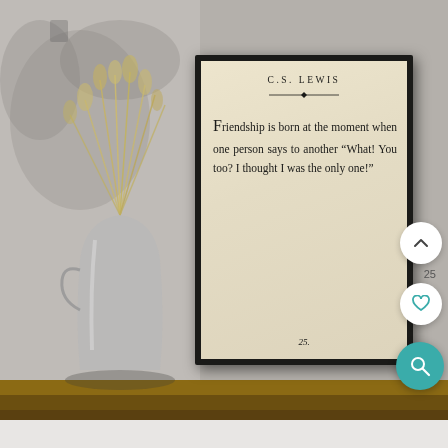[Figure (photo): A photograph of a framed C.S. Lewis quote print on an aged cream paper background, displayed on a wooden shelf next to a rustic metal pitcher with dried grass/wheat stalks. The frame is dark/black. The background wall is grey and textured.]
C.S. LEWIS
Friendship is born at the moment when one person says to another “What! You too? I thought I was the only one!”
25.